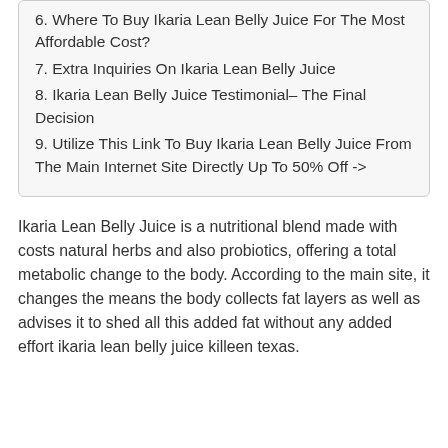6. Where To Buy Ikaria Lean Belly Juice For The Most Affordable Cost?
7. Extra Inquiries On Ikaria Lean Belly Juice
8. Ikaria Lean Belly Juice Testimonial– The Final Decision
9. Utilize This Link To Buy Ikaria Lean Belly Juice From The Main Internet Site Directly Up To 50% Off ->
Ikaria Lean Belly Juice is a nutritional blend made with costs natural herbs and also probiotics, offering a total metabolic change to the body. According to the main site, it changes the means the body collects fat layers as well as advises it to shed all this added fat without any added effort ikaria lean belly juice killeen texas.